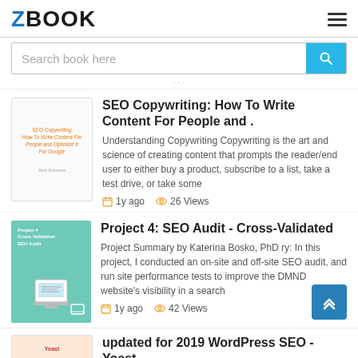ZBOOK
Search book here
... page ...
SEO Copywriting: How To Write Content For People and .
Understanding Copywriting Copywriting is the art and science of creating content that prompts the reader/end user to either buy a product, subscribe to a list, take a test drive, or take some
1y ago   26 Views
Project 4: SEO Audit - Cross-Validated
Project Summary by Katerina Bosko, PhD ry: In this project, I conducted an on-site and off-site SEO audit, and run site performance tests to improve the DMND website's visibility in a search
1y ago   42 Views
updated for 2019 WordPress SEO - Yoast